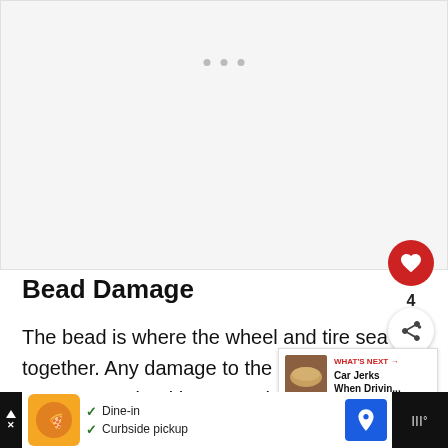[Figure (other): Light gray advertisement placeholder area with three small dots indicating loading or a carousel]
Bead Damage
The bead is where the wheel and tire seal together. Any damage to the bead, or anything wedged between the two, will result in air seeping ou
[Figure (other): What's Next overlay showing a thumbnail of bread/food item with label 'WHAT'S NEXT →' and title 'Car Jerks When Drivin...']
[Figure (other): Bottom advertisement bar showing restaurant/food ad with Dine-in and Curbside pickup options, navigation icon, and dark media player block]